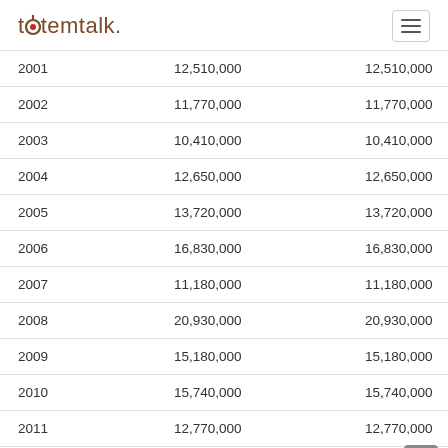totemtalk.
| 2001 | 12,510,000 | 12,510,000 |  |
| 2002 | 11,770,000 | 11,770,000 |  |
| 2003 | 10,410,000 | 10,410,000 |  |
| 2004 | 12,650,000 | 12,650,000 |  |
| 2005 | 13,720,000 | 13,720,000 |  |
| 2006 | 16,830,000 | 16,830,000 |  |
| 2007 | 11,180,000 | 11,180,000 |  |
| 2008 | 20,930,000 | 20,930,000 |  |
| 2009 | 15,180,000 | 15,180,000 |  |
| 2010 | 15,740,000 | 15,740,000 |  |
| 2011 | 12,770,000 | 12,770,000 |  |
| 2012 | 20,437,387 | 17,540,000 | 2,897,387 |